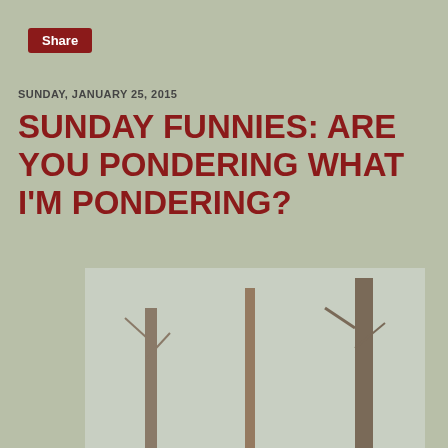Share
SUNDAY, JANUARY 25, 2015
SUNDAY FUNNIES: ARE YOU PONDERING WHAT I'M PONDERING?
[Figure (photo): A golden/red fluffy puppy sitting in snow in a winter forest, wearing a blue collar with a chain leash. Trees and snowy ground visible in background.]